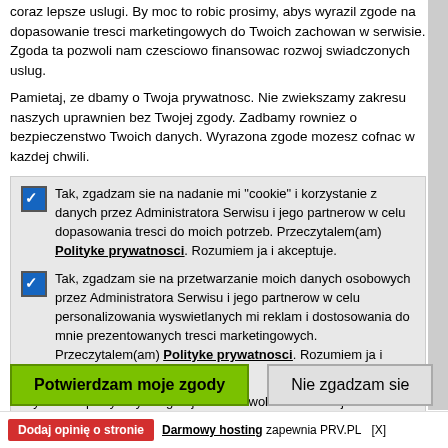coraz lepsze uslugi. By moc to robic prosimy, abys wyrazil zgode na dopasowanie tresci marketingowych do Twoich zachowan w serwisie. Zgoda ta pozwoli nam czesciowo finansowac rozwoj swiadczonych uslug.
Pamietaj, ze dbamy o Twoja prywatnosc. Nie zwiekszamy zakresu naszych uprawnien bez Twojej zgody. Zadbamy rowniez o bezpieczenstwo Twoich danych. Wyrazona zgode mozesz cofnac w kazdej chwili.
Tak, zgadzam sie na nadanie mi "cookie" i korzystanie z danych przez Administratora Serwisu i jego partnerow w celu dopasowania tresci do moich potrzeb. Przeczytalem(am) Polityke prywatnosci. Rozumiem ja i akceptuje.
Tak, zgadzam sie na przetwarzanie moich danych osobowych przez Administratora Serwisu i jego partnerow w celu personalizowania wyswietlanych mi reklam i dostosowania do mnie prezentowanych tresci marketingowych. Przeczytalem(am) Polityke prywatnosci. Rozumiem ja i akceptuje.
Wyrazenie powyzszych zgod jest dobrowolne i mozesz je w dowolnym momencie wycofac poprzez opcje: "Twoje zgody", dostepnej w prawym, dolnym rogu strony lub poprzez usuniecie "cookies" w swojej przegladarce dla powyzej strony, z tym, ze wycofanie zgody nie bedzie mialo wplywu na zgodnosc z prawem przetwarzania na podstawie zgody, przed jej wycofaniem.
Potwierdzam moje zgody
Nie zgadzam sie
Dodaj opinię o stronie   Darmowy hosting zapewnia PRV.PL   [X]